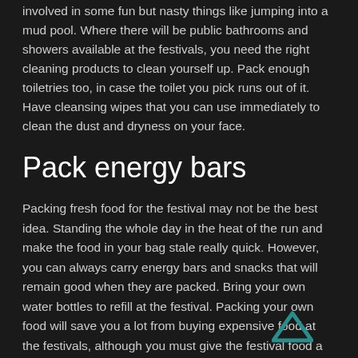involved in some fun but nasty things like jumping into a mud pool. Where there will be public bathrooms and showers available at the festivals, you need the right cleaning products to clean yourself up. Pack enough toiletries too, in case the toilet you pick runs out of it. Have cleansing wipes that you can use immediately to clean the dust and dryness on your face.
Pack energy bars
Packing fresh food for the festival may not be the best idea. Standing the whole day in the heat of the run and make the food in your bag stale really quick. However, you can always carry energy bars and snacks that will remain good when they are packed. Bring your own water bottles to refill at the festival. Packing your own food will save you a lot from buying expensive food at the festivals, although you must give the festival food a try.